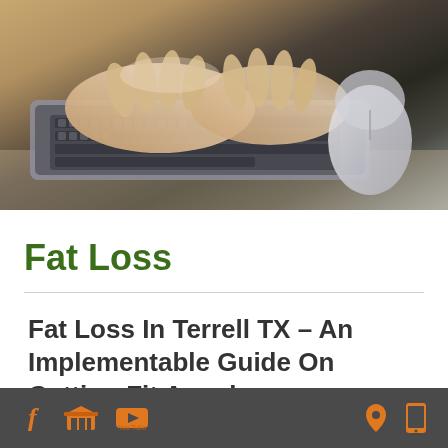[Figure (photo): Close-up photo of hands typing on a laptop keyboard with a mouse visible in the upper right corner]
Fat Loss
Fat Loss In Terrell TX – An Implementable Guide On Getting Fit Anyplace
Social media icons (Facebook, store, YouTube) on left; location pin and mobile phone icons on right